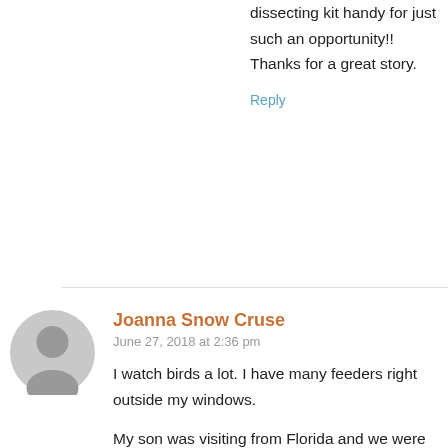dissecting kit handy for just such an opportunity!! Thanks for a great story.
Reply
Joanna Snow Cruse
June 27, 2018 at 2:36 pm
I watch birds a lot. I have many feeders right outside my windows.
My son was visiting from Florida and we were enjoying watching the largest woodpecker in the area. I told him “They don’t come to bird feeders.” The next morning he presented me with a photo of just that bird at MY feeder.
Reply